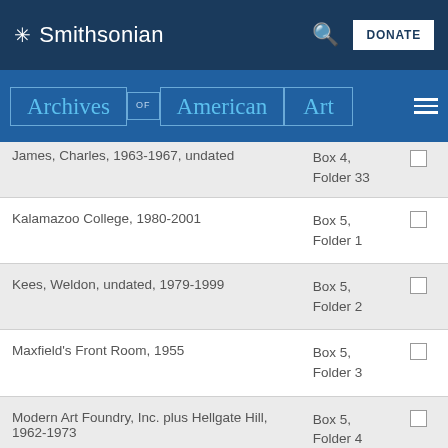Smithsonian
[Figure (logo): Archives of American Art logo with blue navigation bar]
| Name | Box/Folder | Select |
| --- | --- | --- |
| James, Charles, 1963-1967, undated | Box 4, Folder 33 |  |
| Kalamazoo College, 1980-2001 | Box 5, Folder 1 |  |
| Kees, Weldon, undated, 1979-1999 | Box 5, Folder 2 |  |
| Maxfield's Front Room, 1955 | Box 5, Folder 3 |  |
| Modern Art Foundry, Inc. plus Hellgate Hill, 1962-1973 | Box 5, Folder 4 |  |
| Mouton, Grover, circa 1978-circa 1985 | Box 5, Folder 5 |  |